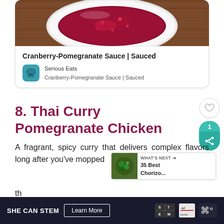[Figure (photo): Photo of a bowl of dark red cranberry-pomegranate sauce on a wooden surface]
Cranberry-Pomegranate Sauce | Sauced
Serious Eats
Cranberry-Pomegranate Sauce | Sauced
8. Thai Curry Pomegranate Chicken
A fragrant, spicy curry that delivers complex flavors long after you've mopped th
[Figure (photo): Small thumbnail of chorizo dish for What's Next section with label '35 Best Chorizo...']
[Figure (other): Ad banner: SHE CAN STEM - Learn More, with STEM and Ad Council logos]